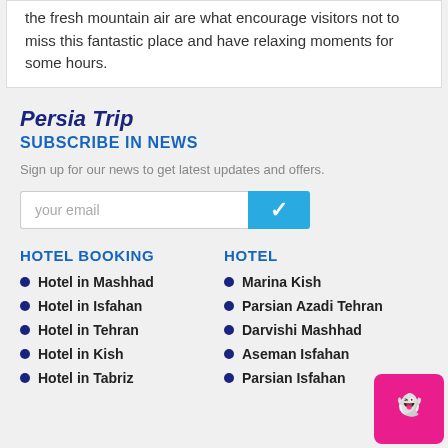the fresh mountain air are what encourage visitors not to miss this fantastic place and have relaxing moments for some hours.
Persia Trip
SUBSCRIBE IN NEWS
Sign up for our news to get latest updates and offers.
HOTEL BOOKING
HOTEL
Hotel in Mashhad
Marina Kish
Hotel in Isfahan
Parsian Azadi Tehran
Hotel in Tehran
Darvishi Mashhad
Hotel in Kish
Aseman Isfahan
Hotel in Tabriz
Parsian Isfahan